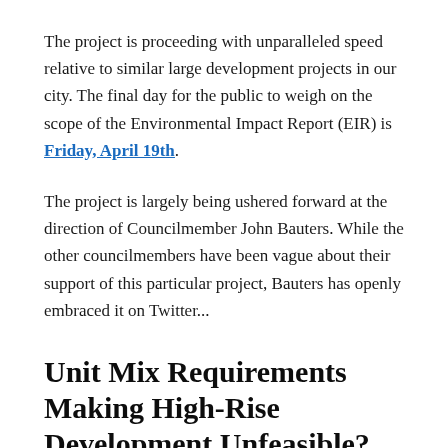The project is proceeding with unparalleled speed relative to similar large development projects in our city. The final day for the public to weigh on the scope of the Environmental Impact Report (EIR) is Friday, April 19th.
The project is largely being ushered forward at the direction of Councilmember John Bauters. While the other councilmembers have been vague about their support of this particular project, Bauters has openly embraced it on Twitter...
Unit Mix Requirements Making High-Rise Development Unfeasible?